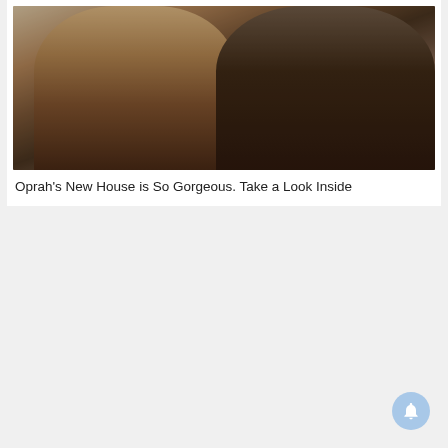[Figure (photo): Two people posing together. A woman in a light cream/gold dress on the left and a man in a dark suit with a silver tie on the right.]
Oprah's New House is So Gorgeous. Take a Look Inside